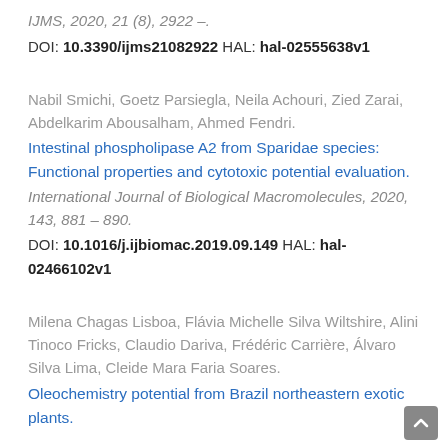IJMS, 2020, 21 (8), 2922 –.
DOI: 10.3390/ijms21082922 HAL: hal-02555638v1
Nabil Smichi, Goetz Parsiegla, Neila Achouri, Zied Zarai, Abdelkarim Abousalham, Ahmed Fendri.
Intestinal phospholipase A2 from Sparidae species: Functional properties and cytotoxic potential evaluation.
International Journal of Biological Macromolecules, 2020, 143, 881 – 890.
DOI: 10.1016/j.ijbiomac.2019.09.149 HAL: hal-02466102v1
Milena Chagas Lisboa, Flávia Michelle Silva Wiltshire, Alini Tinoco Fricks, Claudio Dariva, Frédéric Carrière, Álvaro Silva Lima, Cleide Mara Faria Soares.
Oleochemistry potential from Brazil northeastern exotic plants.